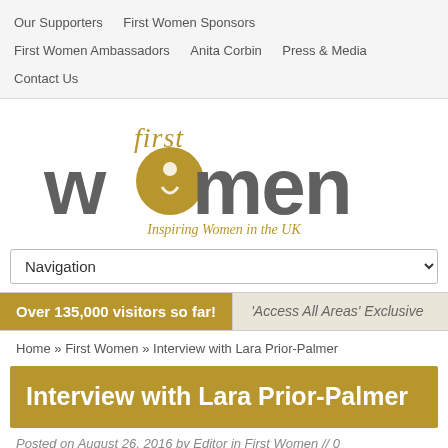Our Supporters   First Women Sponsors   First Women Ambassadors   Anita Corbin   Press & Media   Contact Us
[Figure (logo): First Women logo: 'first' in gold italic serif, 'women' in large bold gray sans-serif with a gold circle replacing the 'o', subtitle 'Inspiring Women in the UK' in gold italic]
Navigation (dropdown)
Over 135,000 visitors so far!   'Access All Areas' Exclusive
Home » First Women » Interview with Lara Prior-Palmer
Interview with Lara Prior-Palmer
Posted on August 26, 2016 by Editor in First Women // 0